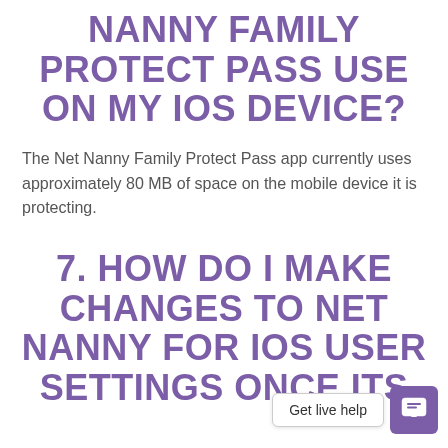NANNY FAMILY PROTECT PASS USE ON MY IOS DEVICE?
The Net Nanny Family Protect Pass app currently uses approximately 80 MB of space on the mobile device it is protecting.
7. HOW DO I MAKE CHANGES TO NET NANNY FOR IOS USER SETTINGS ONCE ITS